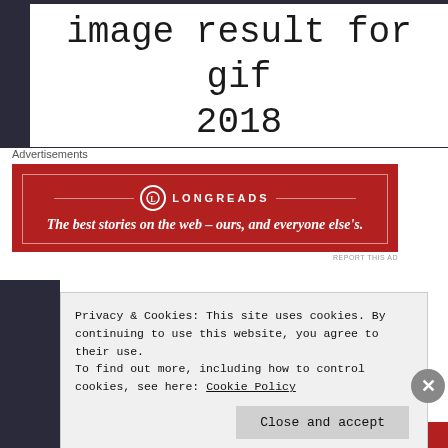image result for gif 2018
Advertisements
[Figure (other): Longreads advertisement banner: 'The best stories on the web – ours, and everyone else's.']
GIF via Google Search
Privacy & Cookies: This site uses cookies. By continuing to use this website, you agree to their use.
To find out more, including how to control cookies, see here: Cookie Policy
Close and accept